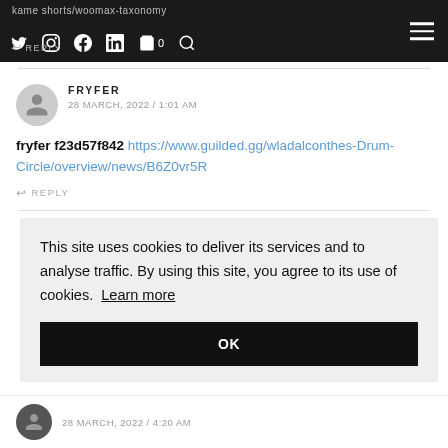Navigation bar with social icons and hamburger menu
fryfer f23d57f842 https://www.guilded.gg/wladalconthes-Drum-Circle/overview/news/B6Z0vr5R
FRYFER
28 MARCH, 2022 / 1:01 AM
REPLY
This site uses cookies to deliver its services and to analyse traffic. By using this site, you agree to its use of cookies. Learn more
OK
28 MARCH, 2022 / 4:20 AM